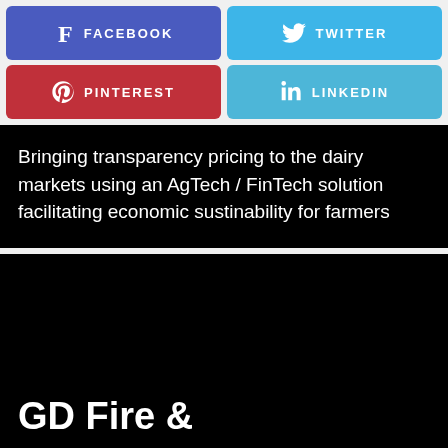[Figure (infographic): Four social media share buttons in a 2x2 grid: Facebook (purple-blue), Twitter (sky blue), Pinterest (red), LinkedIn (light blue), each with icon and label in white uppercase text]
Bringing transparency pricing to the dairy markets using an AgTech / FinTech solution facilitating economic sustinability for farmers
GD Fire &